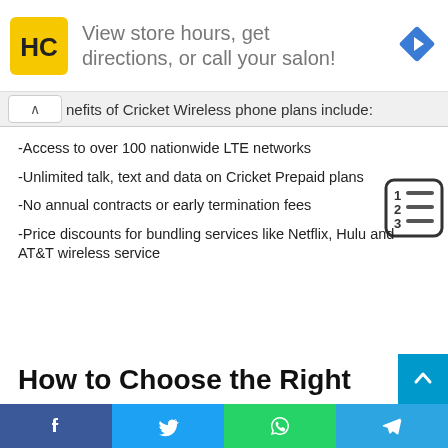[Figure (screenshot): Advertisement banner: HC salon logo, text 'View store hours, get directions, or call your salon!', navigation arrow icon, with ad controls (play/close)]
nefits of Cricket Wireless phone plans include:
-Access to over 100 nationwide LTE networks
-Unlimited talk, text and data on Cricket Prepaid plans
-No annual contracts or early termination fees
-Price discounts for bundling services like Netflix, Hulu and AT&T wireless service
How to Choose the Right